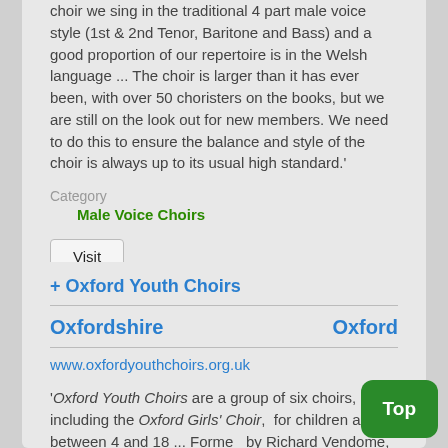choir we sing in the traditional 4 part male voice style (1st & 2nd Tenor, Baritone and Bass) and a good proportion of our repertoire is in the Welsh language ... The choir is larger than it has ever been, with over 50 choristers on the books, but we are still on the look out for new members. We need to do this to ensure the balance and style of the choir is always up to its usual high standard.'
Category
Male Voice Choirs
Visit
+ Oxford Youth Choirs
Oxfordshire
Oxford
www.oxfordyouthchoirs.org.uk
'Oxford Youth Choirs are a group of six choirs, including the Oxford Girls' Choir,  for children aged between 4 and 18 ... Founded by Richard Vendome, Oxford Girls' Choir is the oldest group of its kind in the UK. Now there are four choirs for girls and boys, starting